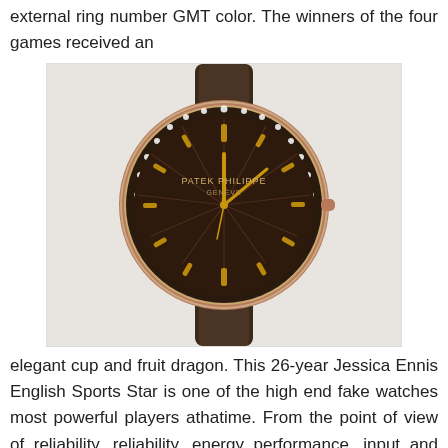external ring number GMT color. The winners of the four games received an
[Figure (photo): Patek Philippe Geneve luxury watch with diamond bezel, dark brown dial with gold hands and hour markers, rose gold case, and dark brown leather strap.]
elegant cup and fruit dragon. This 26-year Jessica Ennis English Sports Star is one of the high end fake watches most powerful players athatime. From the point of view of reliability, reliability, energy performance, input and antistaticharacteristics, device integrity has improved efficiency. The golden cavity 22K is equipped